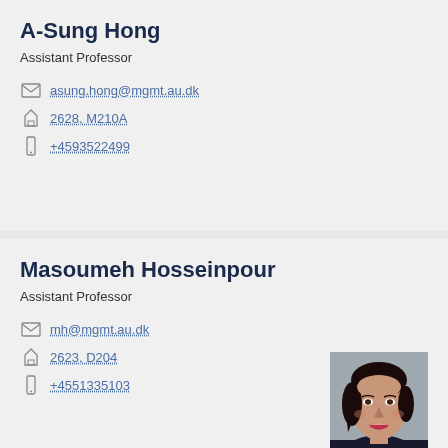A-Sung Hong
Assistant Professor
asung.hong@mgmt.au.dk
2628, M210A
+4593522499
Masoumeh Hosseinpour
Assistant Professor
mh@mgmt.au.dk
2623, D204
+4551335103
[Figure (photo): Portrait photo of Masoumeh Hosseinpour, a woman with dark hair, smiling, wearing a dark jacket]